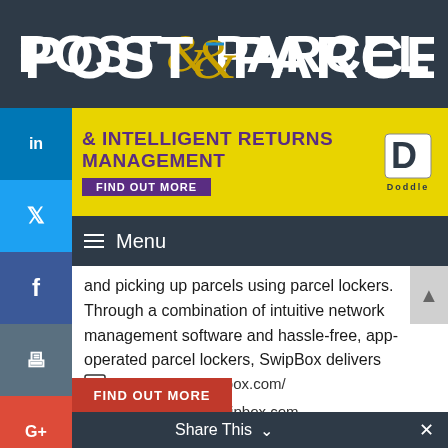POST & PARCEL
[Figure (screenshot): Yellow advertisement banner for intelligent returns management with Doddle logo and 'FIND OUT MORE' button]
Menu
and picking up parcels using parcel lockers. Through a combination of intuitive network management software and hassle-free, app-operated parcel lockers, SwipBox delivers maximum convenience to logistics providers, retailers [...]
https://www.swipbox.com/
International@swipbox.com
Share This